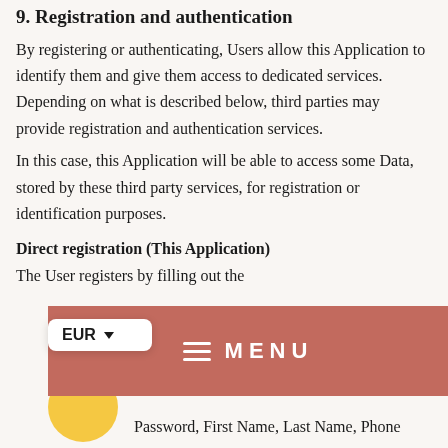9. Registration and authentication
By registering or authenticating, Users allow this Application to identify them and give them access to dedicated services. Depending on what is described below, third parties may provide registration and authentication services.
In this case, this Application will be able to access some Data, stored by these third party services, for registration or identification purposes.
Direct registration (This Application)
The User registers by filling out the
[Figure (other): Navigation menu bar with terracotta/salmon background showing hamburger menu icon and MENU text label]
Password, First Name, Last Name, Phone